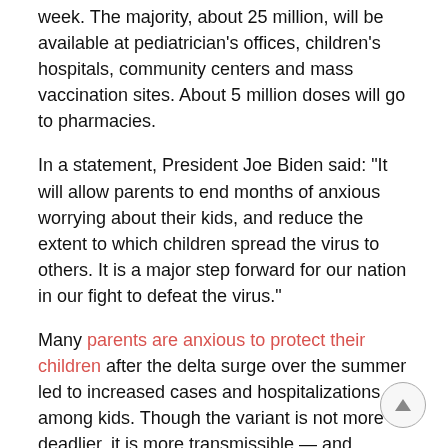week. The majority, about 25 million, will be available at pediatrician's offices, children's hospitals, community centers and mass vaccination sites. About 5 million doses will go to pharmacies.
In a statement, President Joe Biden said: "It will allow parents to end months of anxious worrying about their kids, and reduce the extent to which children spread the virus to others. It is a major step forward for our nation in our fight to defeat the virus."
Many parents are anxious to protect their children after the delta surge over the summer led to increased cases and hospitalizations among kids. Though the variant is not more deadlier, it is more transmissible — and because kids are unvaccinated, the variant rocketed through schools and camps.
The most recent data from Pfizer's clinical trials found that the vaccine for children ages 5-11 was nearly 91% effective against symptomatic illness.